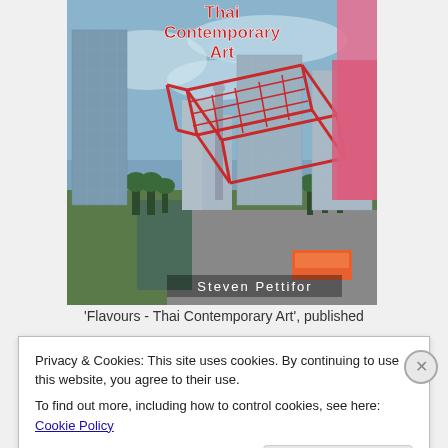[Figure (photo): Book cover of 'Flavours - Thai Contemporary Art' by Steven Pettifor. Shows a Bangkok cityscape with tall glass skyscrapers, a canal, and a red shopping cart sculpture overlaid. A person in pink clothing is visible at the right edge. The title text 'Thai Contemporary Art' is in red handwritten style at the top.]
'Flavours - Thai Contemporary Art', published
Privacy & Cookies: This site uses cookies. By continuing to use this website, you agree to their use.
To find out more, including how to control cookies, see here: Cookie Policy
Close and accept